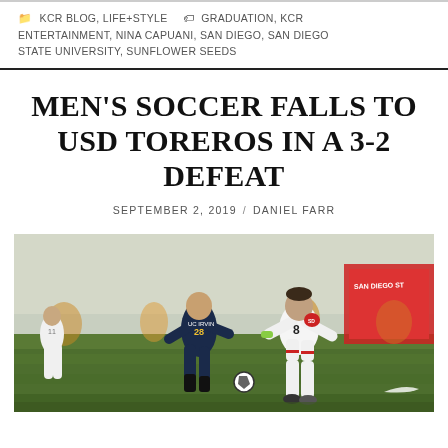KCR BLOG, LIFE+STYLE   GRADUATION, KCR ENTERTAINMENT, NINA CAPUANI, SAN DIEGO, SAN DIEGO STATE UNIVERSITY, SUNFLOWER SEEDS
MEN’S SOCCER FALLS TO USD TOREROS IN A 3-2 DEFEAT
SEPTEMBER 2, 2019 / DANIEL FARR
[Figure (photo): Soccer match action photo showing SDSU player #8 in white uniform dribbling past a UC opponent wearing dark uniform #28, with San Diego State banner visible in background]